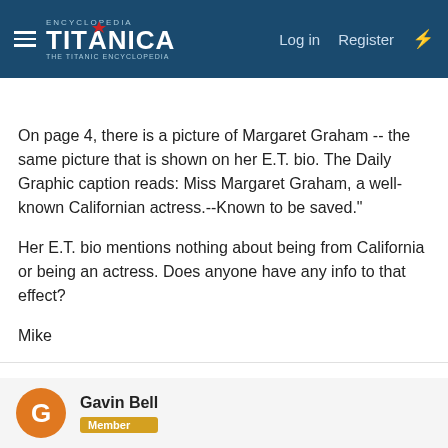Encyclopedia Titanica — Log in  Register
On page 4, there is a picture of Margaret Graham -- the same picture that is shown on her E.T. bio. The Daily Graphic caption reads: Miss Margaret Graham, a well-known Californian actress.--Known to be saved."

Her E.T. bio mentions nothing about being from California or being an actress. Does anyone have any info to that effect?

Mike
Gavin Bell
Member